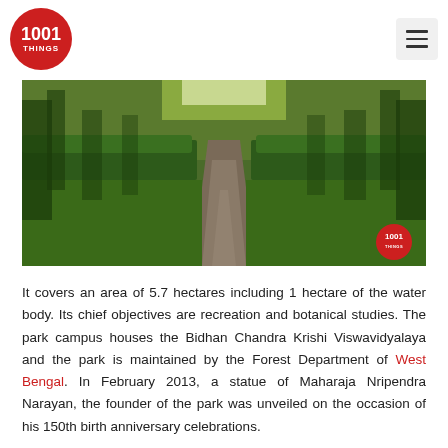1001 THINGS
[Figure (photo): A straight tree-lined pathway flanked by neatly trimmed hedges and green lawn, with tall trees on either side receding into the distance. The path is made of concrete/dirt. The photo has a 1001 THINGS watermark in the bottom-right corner.]
It covers an area of 5.7 hectares including 1 hectare of the water body. Its chief objectives are recreation and botanical studies. The park campus houses the Bidhan Chandra Krishi Viswavidyalaya and the park is maintained by the Forest Department of West Bengal. In February 2013, a statue of Maharaja Nripendra Narayan, the founder of the park was unveiled on the occasion of his 150th birth anniversary celebrations.